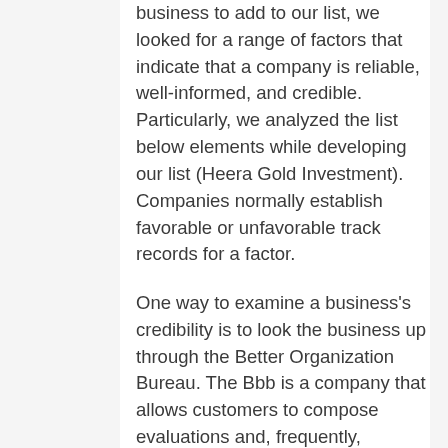business to add to our list, we looked for a range of factors that indicate that a company is reliable, well-informed, and credible. Particularly, we analyzed the list below elements while developing our list (Heera Gold Investment). Companies normally establish favorable or unfavorable track records for a factor.
One way to examine a business's credibility is to look the business up through the Better Organization Bureau. The Bbb is a company that allows customers to compose evaluations and, frequently, complaints of businesses online. The Bbb like a...